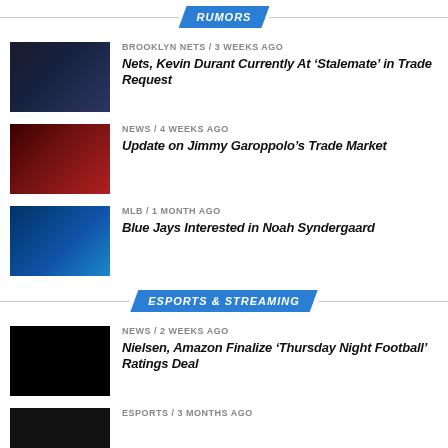RUMORS
[Figure (photo): Brooklyn Nets basketball player #35 in dark jersey against dark background]
BROOKLYN NETS / 3 weeks ago
Nets, Kevin Durant Currently At ‘Stalemate’ in Trade Request
[Figure (photo): Football player in light jersey against dark red background]
NEWS / 4 weeks ago
Update on Jimmy Garoppolo’s Trade Market
[Figure (photo): Toronto Blue Jays logo on blue background]
MLB / 1 month ago
Blue Jays Interested in Noah Syndergaard
ESPORTS & STREAMING
[Figure (photo): Dark/black image thumbnail]
NEWS / 2 weeks ago
Nielsen, Amazon Finalize ‘Thursday Night Football’ Ratings Deal
[Figure (photo): Dark image thumbnail]
ESPORTS / 3 months ago